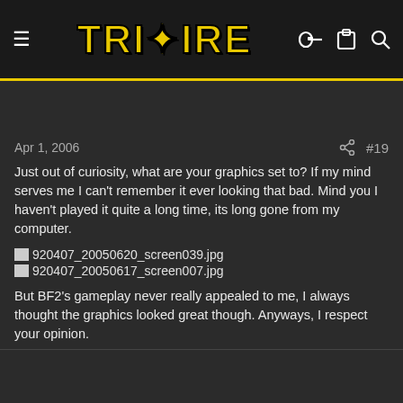[Figure (logo): Tripwire Interactive logo with yellow stylized text on dark background, with hamburger menu icon on left and key, clipboard, search icons on right]
FNG / Fresh Meat
Apr 1, 2006  #19
Just out of curiosity, what are your graphics set to? If my mind serves me I can't remember it ever looking that bad. Mind you I haven't played it quite a long time, its long gone from my computer.
920407_20050620_screen039.jpg
920407_20050617_screen007.jpg
But BF2's gameplay never really appealed to me, I always thought the graphics looked great though. Anyways, I respect your opinion.
Amerikaner
Senior Member